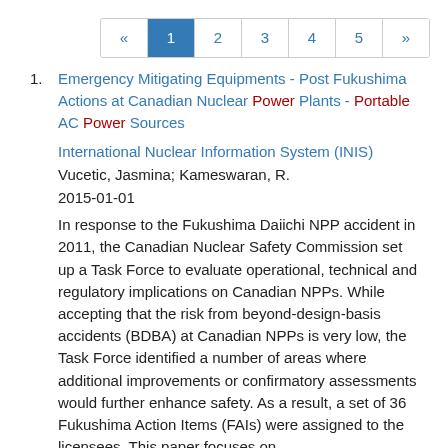« 1 2 3 4 5 »
1. Emergency Mitigating Equipments - Post Fukushima Actions at Canadian Nuclear Power Plants - Portable AC Power Sources
International Nuclear Information System (INIS)
Vucetic, Jasmina; Kameswaran, R.
2015-01-01
In response to the Fukushima Daiichi NPP accident in 2011, the Canadian Nuclear Safety Commission set up a Task Force to evaluate operational, technical and regulatory implications on Canadian NPPs. While accepting that the risk from beyond-design-basis accidents (BDBA) at Canadian NPPs is very low, the Task Force identified a number of areas where additional improvements or confirmatory assessments would further enhance safety. As a result, a set of 36 Fukushima Action Items (FAIs) were assigned to the licensees. This paper focuses on